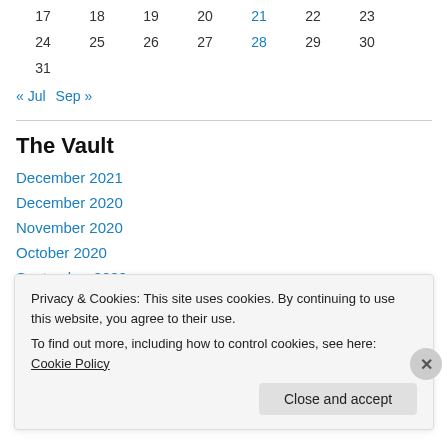| 17 | 18 | 19 | 20 | 21 | 22 | 23 |
| 24 | 25 | 26 | 27 | 28 | 29 | 30 |
| 31 |  |  |  |  |  |  |
« Jul   Sep »
The Vault
December 2021
December 2020
November 2020
October 2020
September 2020
August 2020
Privacy & Cookies: This site uses cookies. By continuing to use this website, you agree to their use.
To find out more, including how to control cookies, see here: Cookie Policy